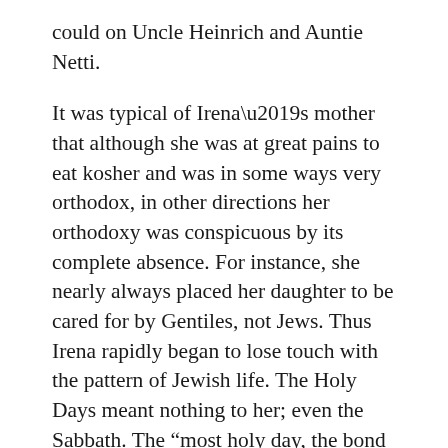could on Uncle Heinrich and Auntie Netti.
It was typical of Irena’s mother that although she was at great pains to eat kosher and was in some ways very orthodox, in other directions her orthodoxy was conspicuous by its complete absence. For instance, she nearly always placed her daughter to be cared for by Gentiles, not Jews. Thus Irena rapidly began to lose touch with the pattern of Jewish life. The Holy Days meant nothing to her; even the Sabbath. The “most holy day, the bond between God and man” became just another day in the week for her. And it has been truly said...“More than the Jew has kept the Sabbath, it is the Sabbath that has kept the Jew.”